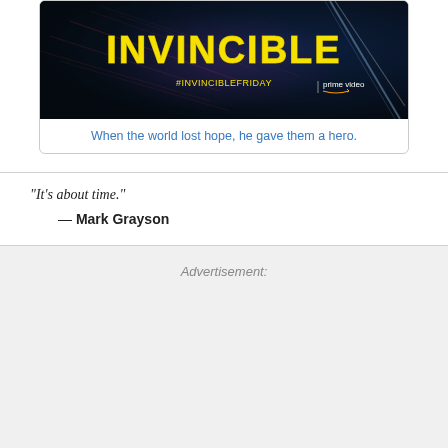[Figure (illustration): Promotional image for the Amazon Prime Video show 'Invincible'. Yellow stylized text reading INVINCIBLE on a dark space background with streaking light effects. Text #INVINCIBLEFRIDAY and Prime Video logo visible.]
When the world lost hope, he gave them a hero.
"It's about time."
— Mark Grayson
Advertisement: